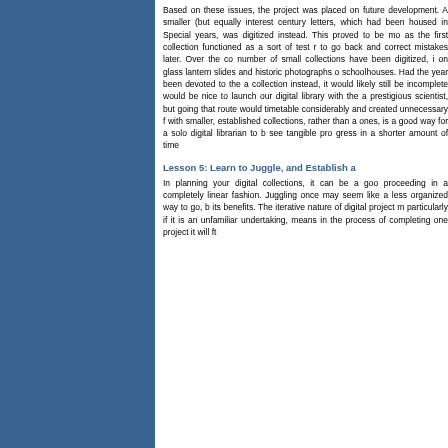Based on these issues, the project was placed on future development. A smaller (but equally interest century letters, which had been housed in Special years, was digitized instead. This proved to be mo as the first collection functioned as a sort of test r to go back and correct mistakes later. Over the co number of small collections have been digitized, i on glass lantern slides and historic photographs o schoolhouses. Had the year been devoted to the a collection instead, it would likely still be incomplete would be nice to launch our digital library with the a prestigious scientist, but going that route would timetable considerably and created unnecessary f with smaller, established collections, rather than a ones, is a good way for a solo digital librarian to b see tangible pro gress in a shorter amount of time
Lesson 5: Learn to Juggle, and Establish a
In planning your digital collections, it can be a goo proceeding in a completely linear fashion. Juggling once may seem like a less organized way to go, b its benefits. The iterative nature of digital project m particularly if it is an unfamiliar undertaking, means in the process of completing one project it will ft